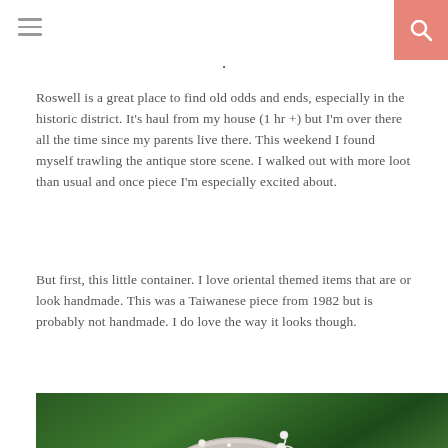Roswell is a great place to find old odds and ends, especially in the historic district. It’s haul from my house (1 hr +) but I’m over there all the time since my parents live there. This weekend I found myself trawling the antique store scene. I walked out with more loot than usual and once piece I’m especially excited about.
But first, this little container. I love oriental themed items that are or look handmade. This was a Taiwanese piece from 1982 but is probably not handmade. I do love the way it looks though.
[Figure (photo): Close-up photo of an ornate silver/white decorative container lid with cherry blossom branch motif in relief, set against a blurred green background.]